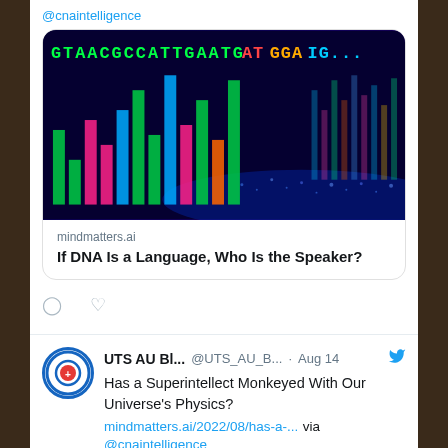@cnaintelligence
[Figure (photo): Colorful DNA sequencing visualization with glowing green, pink, red, blue bars on dark background with text GTAACGCCATTGAATG... displayed]
mindmatters.ai
If DNA Is a Language, Who Is the Speaker?
UTS AU Bl... @UTS_AU_B... · Aug 14
Has a Superintellect Monkeyed With Our Universe's Physics?
mindmatters.ai/2022/08/has-a-... via @cnaintelligence